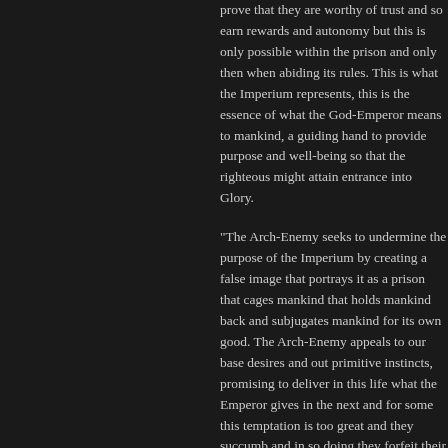prove that they are worthy of trust and so earn rewards and autonomy but this is only possible within the prison and only then when abiding its rules. This is what the Imperium represents, this is the essence of what the God-Emperor means to mankind, a guiding hand to provide purpose and well-being so that the righteous might attain entrance into Glory.
"The Arch-Enemy seeks to undermine the purpose of the Imperium by creating a false image that portrays it as a prison that cages mankind that holds mankind back and subjugates mankind for its own good. The Arch-Enemy appeals to our base desires and out primitive instincts, promising to deliver in this life what the Emperor gives in the next and for some this temptation is too great and they succumb and in so doing they forfeit their immortal souls and passage into Glory. Humans may suffer for a short time in this world but they are rewarded in the next and sit by the Emperor's side. The Powers of Chaos offers ephemeral and fleeting pleasures and delivers its followers unto an eternity of pain and anguish."